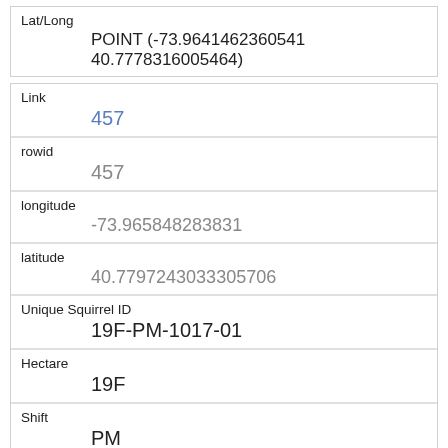| Field | Value |
| --- | --- |
| Lat/Long | POINT (-73.9641462360541 40.7778316005464) |
| Field | Value |
| --- | --- |
| Link | 457 |
| rowid | 457 |
| longitude | -73.965848283831 |
| latitude | 40.7797243033305706 |
| Unique Squirrel ID | 19F-PM-1017-01 |
| Hectare | 19F |
| Shift | PM |
| Date | 10172018 |